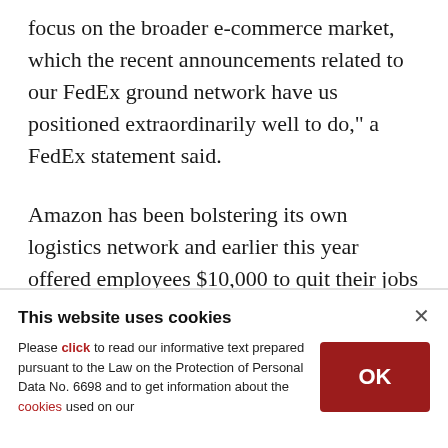focus on the broader e-commerce market, which the recent announcements related to our FedEx ground network have us positioned extraordinarily well to do," a FedEx statement said.
Amazon has been bolstering its own logistics network and earlier this year offered employees $10,000 to quit their jobs and create their own delivery enterprise.
This website uses cookies

Please click to read our informative text prepared pursuant to the Law on the Protection of Personal Data No. 6698 and to get information about the cookies used on our